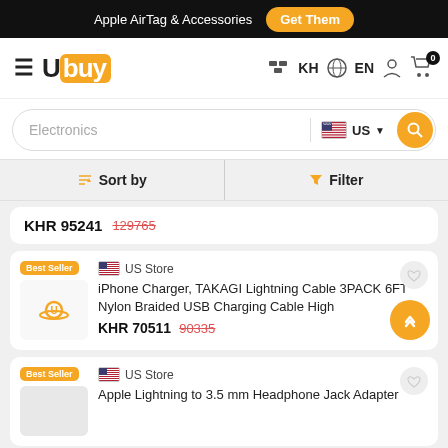Apple AirTag & Accessories  Get Them
[Figure (logo): Ubuy logo with hamburger menu, country selector KH, language EN, user icon, and cart with 0 badge]
[Figure (screenshot): Search bar with Electronics placeholder, US flag country selector, and search button]
Sort by  |  Filter
KHR 95241  129765
Best Seller  US Store  iPhone Charger, TAKAGI Lightning Cable 3PACK 6FT Nylon Braided USB Charging Cable High  KHR 70511  90335
Best Seller  US Store  Apple Lightning to 3.5 mm Headphone Jack Adapter